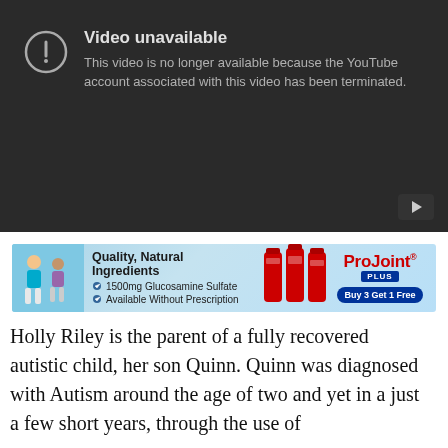[Figure (screenshot): YouTube 'Video unavailable' error screen with dark background. Shows an exclamation icon in a circle and text: 'Video unavailable — This video is no longer available because the YouTube account associated with this video has been terminated.' A YouTube play button icon is in the bottom-right corner.]
[Figure (screenshot): ProJoint Plus advertisement banner. Shows two elderly people walking/exercising on a blue gradient background. Text: 'Quality, Natural Ingredients', '1500mg Glucosamine Sulfate', 'Available Without Prescription'. Product bottles displayed. Brand name 'ProJoint PLUS' in red and blue. 'Buy 3 Get 1 Free' button.]
Holly Riley is the parent of a fully recovered autistic child, her son Quinn. Quinn was diagnosed with Autism around the age of two and yet in a just a few short years, through the use of